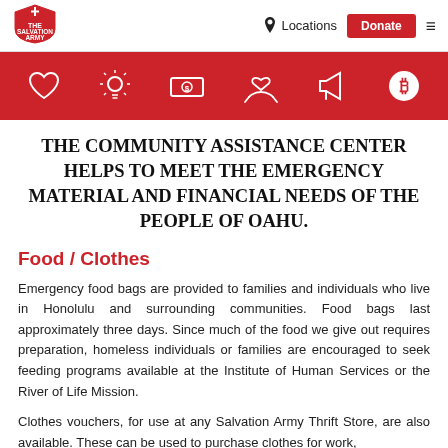[Figure (logo): Salvation Army shield logo in red and white]
Locations  Donate  ≡
[Figure (infographic): Red banner with white icons: heart, lightbulb, money/bill, hands holding heart, megaphone, bitcoin/circle-B]
The Community Assistance Center helps to meet the emergency material and financial needs of the people of Oahu.
Food / Clothes
Emergency food bags are provided to families and individuals who live in Honolulu and surrounding communities. Food bags last approximately three days. Since much of the food we give out requires preparation, homeless individuals or families are encouraged to seek feeding programs available at the Institute of Human Services or the River of Life Mission.
Clothes vouchers, for use at any Salvation Army Thrift Store, are also available. These can be used to purchase clothes for work,